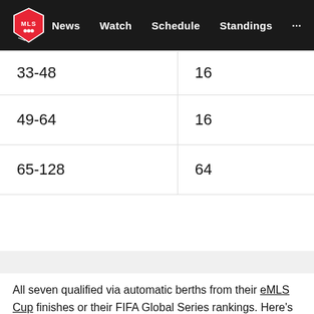MLS — News | Watch | Schedule | Standings
| 33-48 | 16 |
| 49-64 | 16 |
| 65-128 | 64 |
All seven qualified via automatic berths from their eMLS Cup finishes or their FIFA Global Series rankings. Here's